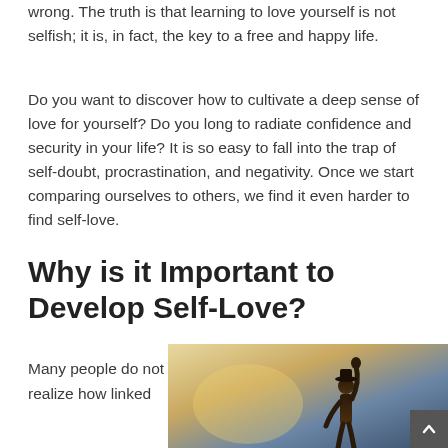wrong. The truth is that learning to love yourself is not selfish; it is, in fact, the key to a free and happy life.
Do you want to discover how to cultivate a deep sense of love for yourself? Do you long to radiate confidence and security in your life? It is so easy to fall into the trap of self-doubt, procrastination, and negativity. Once we start comparing ourselves to others, we find it even harder to find self-love.
Why is it Important to Develop Self-Love?
Many people do not realize how linked
[Figure (photo): Person raising fist triumphantly against a warm gradient sky background, conveying empowerment and self-love.]